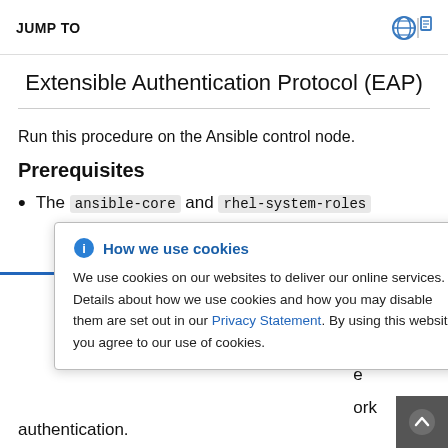JUMP TO
Extensible Authentication Protocol (EAP)
Run this procedure on the Ansible control node.
Prerequisites
The ansible-core and rhel-system-roles packages are installed on the control node.
You have a user account with sudo privileges other than root and that user must have privilege escalation enabled on the managed node to configure 802.1X network authentication.
How we use cookies - We use cookies on our websites to deliver our online services. Details about how we use cookies and how you may disable them are set out in our Privacy Statement. By using this website you agree to our use of cookies.